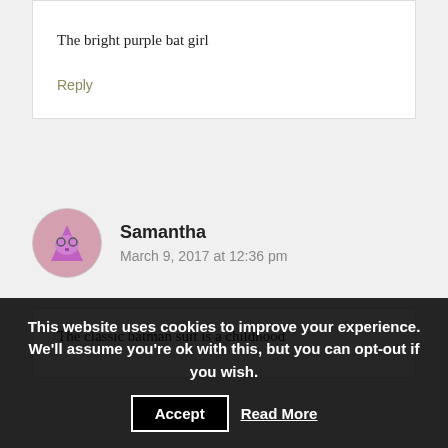The bright purple bat girl
Reply
[Figure (illustration): Circular avatar showing a cartoon pink/purple triangular character with face icons, partially cropped at top]
Samantha
March 9, 2017 at 12:36 pm
The classic batman suit is a childhood
This website uses cookies to improve your experience. We'll assume you're ok with this, but you can opt-out if you wish. Accept Read More